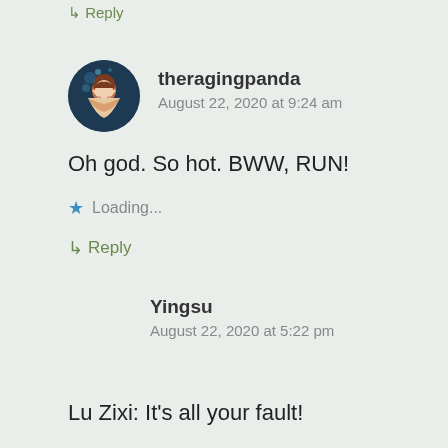↳ Reply
[Figure (illustration): Circular avatar image showing an anime-style character with reddish-brown hair against a dark blue background with stars]
theragingpanda
August 22, 2020 at 9:24 am
Oh god. So hot. BWW, RUN!
Loading...
↳ Reply
Yingsu
August 22, 2020 at 5:22 pm
Lu Zixi: It's all your fault!